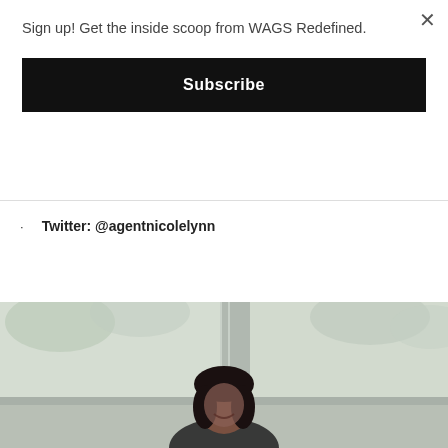Sign up! Get the inside scoop from WAGS Redefined.
Subscribe
Twitter: @agentnicolelynn
Instagram: @agentnicolelynn
Website: www.agentnicolelynn.com
[Figure (photo): Woman with dark hair smiling, seated in a bright office or room with large windows and trees visible in the background.]